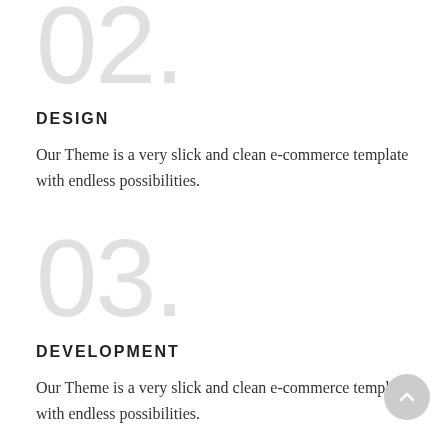02.
DESIGN
Our Theme is a very slick and clean e-commerce template with endless possibilities.
03.
DEVELOPMENT
Our Theme is a very slick and clean e-commerce template with endless possibilities.